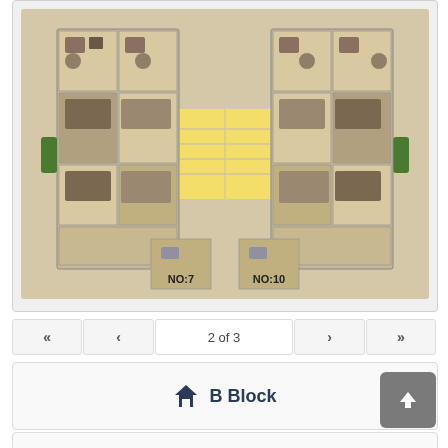[Figure (engineering-diagram): Building floor plan showing apartment layout with two units labeled NO:7 and NO:10, a small site map inset in top-left corner, and pagination controls showing 2 of 3]
2 of 3
B Block
Dükkanlar
Genel Kat Planları